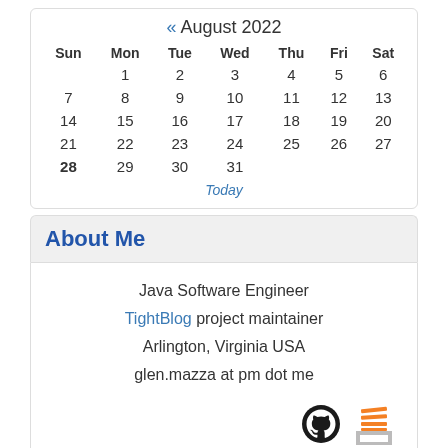« August 2022
| Sun | Mon | Tue | Wed | Thu | Fri | Sat |
| --- | --- | --- | --- | --- | --- | --- |
|  | 1 | 2 | 3 | 4 | 5 | 6 |
| 7 | 8 | 9 | 10 | 11 | 12 | 13 |
| 14 | 15 | 16 | 17 | 18 | 19 | 20 |
| 21 | 22 | 23 | 24 | 25 | 26 | 27 |
| 28 | 29 | 30 | 31 |  |  |  |
Today
About Me
Java Software Engineer
TightBlog project maintainer
Arlington, Virginia USA
glen.mazza at pm dot me